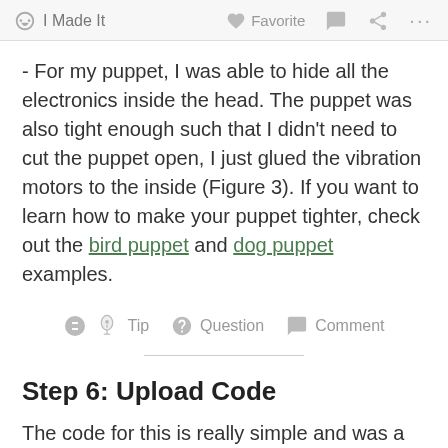✋ I Made It   ♡ Favorite   💬   🔗   ...
- For my puppet, I was able to hide all the electronics inside the head. The puppet was also tight enough such that I didn't need to cut the puppet open, I just glued the vibration motors to the inside (Figure 3). If you want to learn how to make your puppet tighter, check out the bird puppet and dog puppet examples.
💡 Tip   ❓ Question   💬 Comment
Step 6: Upload Code
The code for this is really simple and was a slight modification on the Sparkfun flex sensor code example. Each flex sensor controls a vibration motor